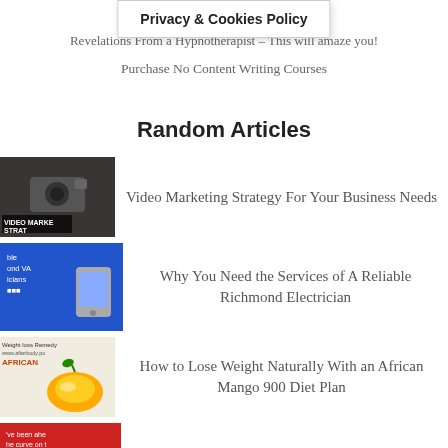Benefits of Ro…a.
Privacy & Cookies Policy
Revelations From a Hypnotherapist – This will amaze you!
Purchase No Content Writing Courses
Random Articles
Video Marketing Strategy For Your Business Needs
Why You Need the Services of A Reliable Richmond Electrician
How to Lose Weight Naturally With an African Mango 900 Diet Plan
When inflation spikes out of control, find a bear to poke
Types of Essential Oils – Explained